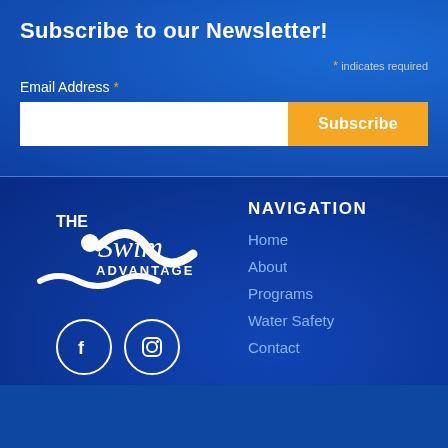Subscribe to our Newsletter!
* indicates required
Email Address *
[Figure (screenshot): Email input field with Subscribe button]
[Figure (logo): The Swim Advantage logo in white]
[Figure (other): Facebook and Instagram social media icon circles]
NAVIGATION
Home
About
Programs
Water Safety
Contact